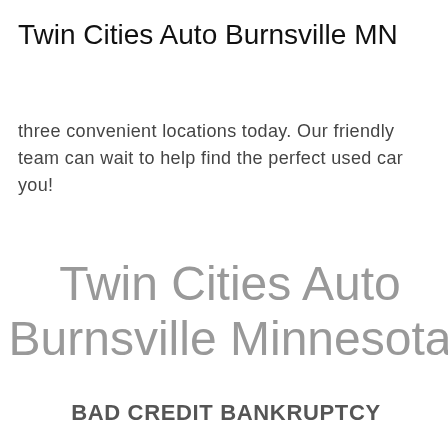Twin Cities Auto Burnsville MN
three convenient locations today. Our friendly team can wait to help find the perfect used car you!
Twin Cities Auto Burnsville Minnesota
BAD CREDIT BANKRUPTCY